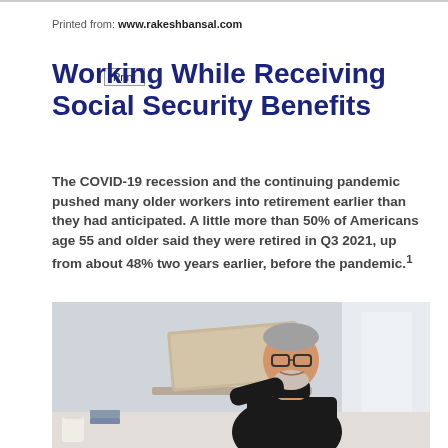Printed from: www.rakeshbansal.com
Working While Receiving Social Security Benefits
The COVID-19 recession and the continuing pandemic pushed many older workers into retirement earlier than they had anticipated. A little more than 50% of Americans age 55 and older said they were retired in Q3 2021, up from about 48% two years earlier, before the pandemic.1
[Figure (photo): A middle-aged man with grey hair and beard wearing glasses and a black turtleneck, smiling while working on a laptop computer]